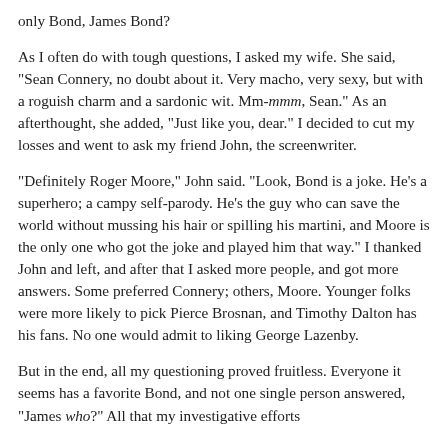only Bond, James Bond?
As I often do with tough questions, I asked my wife. She said, "Sean Connery, no doubt about it. Very macho, very sexy, but with a roguish charm and a sardonic wit. Mm-mmm, Sean." As an afterthought, she added, "Just like you, dear." I decided to cut my losses and went to ask my friend John, the screenwriter.
"Definitely Roger Moore," John said. "Look, Bond is a joke. He's a superhero; a campy self-parody. He's the guy who can save the world without mussing his hair or spilling his martini, and Moore is the only one who got the joke and played him that way." I thanked John and left, and after that I asked more people, and got more answers. Some preferred Connery; others, Moore. Younger folks were more likely to pick Pierce Brosnan, and Timothy Dalton has his fans. No one would admit to liking George Lazenby.
But in the end, all my questioning proved fruitless. Everyone it seems has a favorite Bond, and not one single person answered, "James who?" All that my investigative efforts